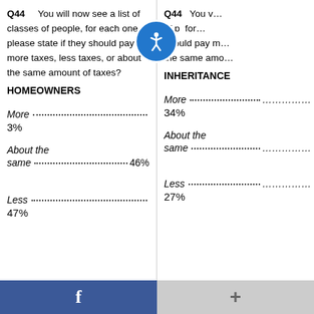Q44   You will now see a list of classes of people, for each one please state if they should pay more taxes, less taxes, or about the same amount of taxes?
HOMEOWNERS
More........................................ 3%
About the same........................................ 46%
Less........................................ 47%
Q44   You will now see a list of classes of people, for each one please state if they should pay more taxes, less taxes, or about the same amount of taxes?
INHERITANCE
More........................................ 34%
About the same........................................
Less........................................ 27%